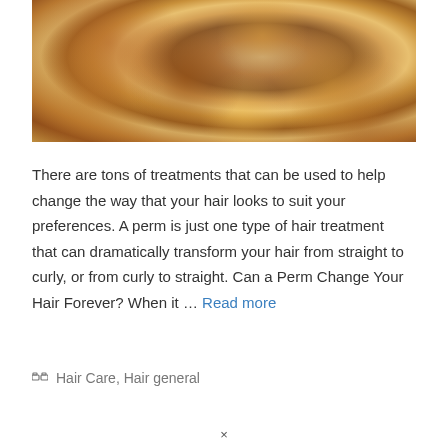[Figure (photo): Close-up photograph of curly/wavy hair in warm brown, golden, and auburn tones — blurred bokeh style showing tight curls and waves.]
There are tons of treatments that can be used to help change the way that your hair looks to suit your preferences. A perm is just one type of hair treatment that can dramatically transform your hair from straight to curly, or from curly to straight. Can a Perm Change Your Hair Forever? When it … Read more
Hair Care, Hair general